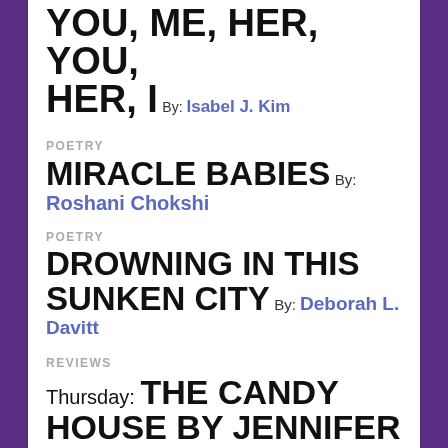YOU, ME, HER, YOU, HER, I By: Isabel J. Kim
POETRY
MIRACLE BABIES By: Roshani Chokshi
POETRY
DROWNING IN THIS SUNKEN CITY By: Deborah L. Davitt
REVIEWS
Thursday: THE CANDY HOUSE BY JENNIFER